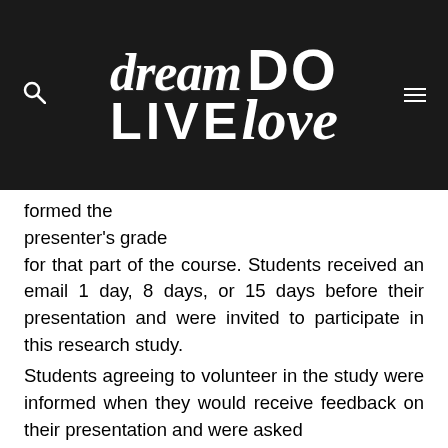[Figure (logo): Dream Do Live Love logo in white text on dark background, with search icon on left and menu icon on right]
formed the presenter's grade for that part of the course. Students received an email 1 day, 8 days, or 15 days before their presentation and were invited to participate in this research study.
Students agreeing to volunteer in the study were informed when they would receive feedback on their presentation and were asked